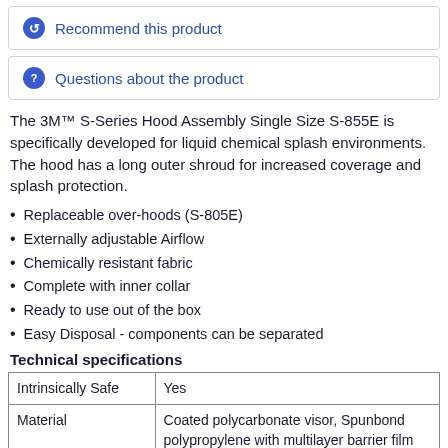Recommend this product
Questions about the product
The 3M™ S-Series Hood Assembly Single Size S-855E is specifically developed for liquid chemical splash environments. The hood has a long outer shroud for increased coverage and splash protection.
Replaceable over-hoods (S-805E)
Externally adjustable Airflow
Chemically resistant fabric
Complete with inner collar
Ready to use out of the box
Easy Disposal - components can be separated
Technical specifications
| Property | Value |
| --- | --- |
| Intrinsically Safe | Yes |
| Material | Coated polycarbonate visor, Spunbond polypropylene with multilayer barrier film |
| Net Weight (Metric) | 375 g |
| Product Series | S-Series |